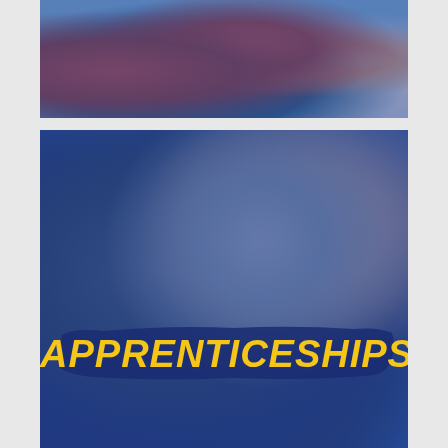[Figure (photo): Top portion of page showing sports jerseys and people from waist down, with a blue overlay tint.]
[Figure (photo): Main image showing two people (a younger and older individual) looking forward, with a dark blue overlay and a brush-stroke style banner reading 'APPRENTICESHIPS' in bold yellow italic text.]